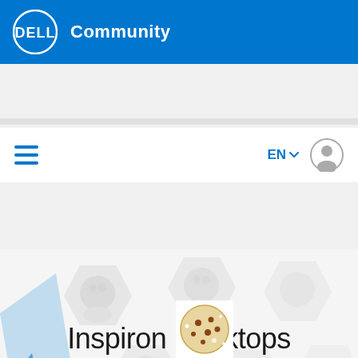Dell Community
[Figure (screenshot): Dell Community mobile app navigation bar with hamburger menu, EN language selector, and user profile icon]
[Figure (illustration): Inspiron Desktops hero banner with faded hexagonal community member portraits in grayscale]
Inspiron Desktops
< Inspiron Desktops
Search this board